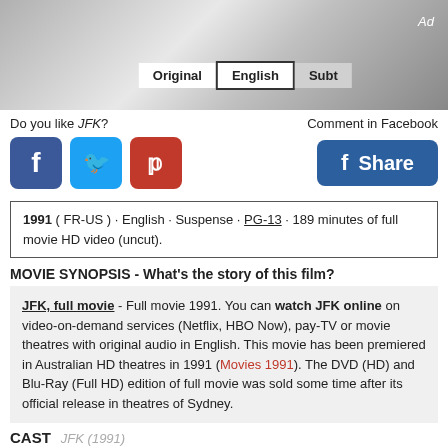[Figure (photo): Movie banner image with Original, English, Subt buttons and Ad label]
Do you like JFK?
Comment in Facebook
[Figure (other): Social media icons: Facebook, Twitter, Pinterest, and Share button]
1991 ( FR-US ) · English · Suspense · PG-13 · 189 minutes of full movie HD video (uncut).
MOVIE SYNOPSIS - What's the story of this film?
JFK, full movie - Full movie 1991. You can watch JFK online on video-on-demand services (Netflix, HBO Now), pay-TV or movie theatres with original audio in English. This movie has been premiered in Australian HD theatres in 1991 (Movies 1991). The DVD (HD) and Blu-Ray (Full HD) edition of full movie was sold some time after its official release in theatres of Sydney.
CAST   JFK (1991)
Kevin Costner
Filmography
Gary Oldman
Filmography
Kevin Bacon
Sissy Spacek